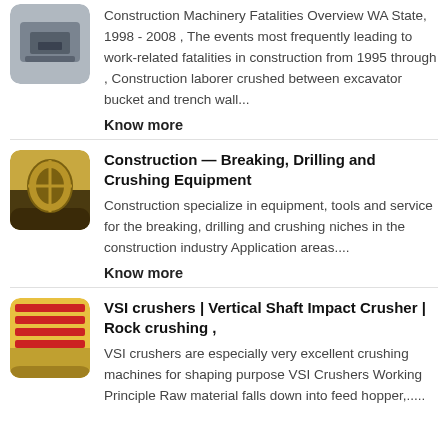[Figure (photo): Thumbnail image of construction machinery, rounded corners]
Construction Machinery Fatalities Overview WA State, 1998 - 2008 , The events most frequently leading to work-related fatalities in construction from 1995 through , Construction laborer crushed between excavator bucket and trench wall...
Know more
[Figure (photo): Thumbnail image of breaking/drilling/crushing equipment, rounded corners]
Construction — Breaking, Drilling and Crushing Equipment
Construction specialize in equipment, tools and service for the breaking, drilling and crushing niches in the construction industry Application areas....
Know more
[Figure (photo): Thumbnail image of VSI crusher / yellow conveyor belts, rounded corners]
VSI crushers | Vertical Shaft Impact Crusher | Rock crushing ,
VSI crushers are especially very excellent crushing machines for shaping purpose VSI Crushers Working Principle Raw material falls down into feed hopper,....